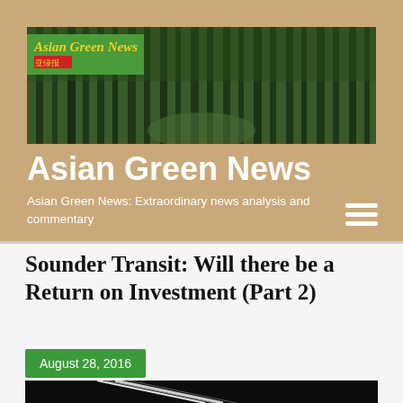[Figure (photo): Asian Green News website header banner showing forest/bamboo trees in green tones with logo overlay]
Asian Green News
Asian Green News: Extraordinary news analysis and commentary
Sounder Transit: Will there be a Return on Investment (Part 2)
August 28, 2016
[Figure (photo): Dark image with bright light streaks, partially visible at bottom of page]